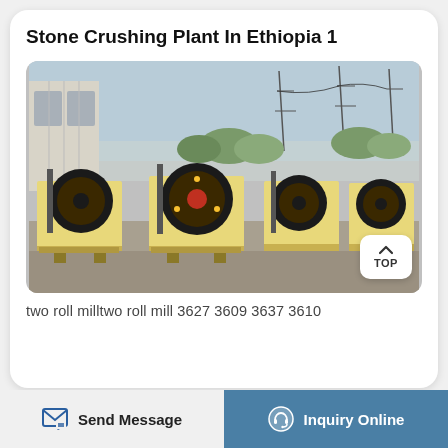Stone Crushing Plant In Ethiopia 1
[Figure (photo): Multiple yellow jaw crusher machines lined up in an outdoor industrial yard with a building and power line towers in the background.]
two roll milltwo roll mill 3627 3609 3637 3610
Send Message | Inquiry Online